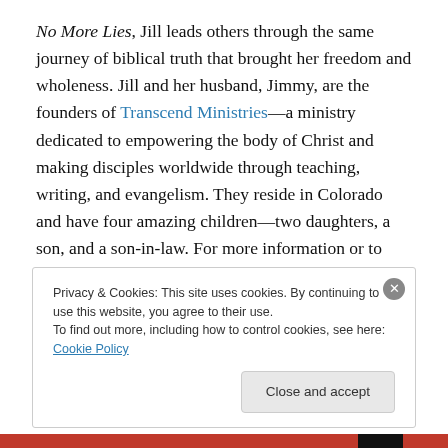No More Lies, Jill leads others through the same journey of biblical truth that brought her freedom and wholeness. Jill and her husband, Jimmy, are the founders of Transcend Ministries—a ministry dedicated to empowering the body of Christ and making disciples worldwide through teaching, writing, and evangelism. They reside in Colorado and have four amazing children—two daughters, a son, and a son-in-law. For more information or to order her book visit www.transcendministries.org.
Learn more about Jill Tomlinson here.
Privacy & Cookies: This site uses cookies. By continuing to use this website, you agree to their use. To find out more, including how to control cookies, see here: Cookie Policy